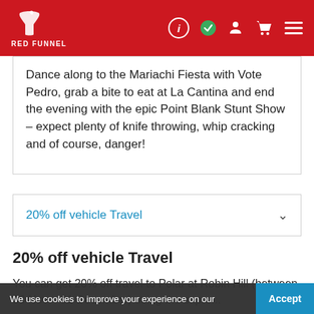Red Funnel
Dance along to the Mariachi Fiesta with Vote Pedro, grab a bite to eat at La Cantina and end the evening with the epic Point Blank Stunt Show – expect plenty of knife throwing, whip cracking and of course, danger!
20% off vehicle Travel
20% off vehicle Travel
You can get 20% off travel to Polar at Robin Hill (between 30 Nov – 31 December) using the expre...
We use cookies to improve your experience on our